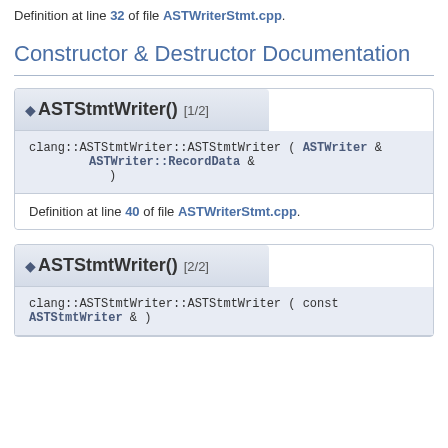Definition at line 32 of file ASTWriterStmt.cpp.
Constructor & Destructor Documentation
◆ ASTStmtWriter() [1/2]
clang::ASTStmtWriter::ASTStmtWriter ( ASTWriter & 
 ASTWriter::RecordData & 
 )
Definition at line 40 of file ASTWriterStmt.cpp.
◆ ASTStmtWriter() [2/2]
clang::ASTStmtWriter::ASTStmtWriter ( const ASTStmtWriter & )